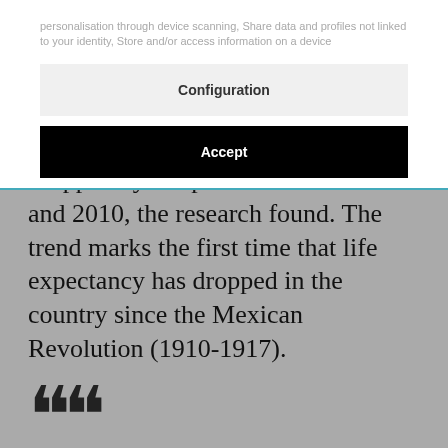personalisation through device scanning, Share data and profiles not linked to your identity, Store and/or access information on a device
[Figure (screenshot): Configuration button (light gray background) and Accept button (black background) — cookie consent UI overlay]
dropped by 0.6 percent between 2005 and 2010, the research found. The trend marks the first time that life expectancy has dropped in the country since the Mexican Revolution (1910-1917).
According to the study, life